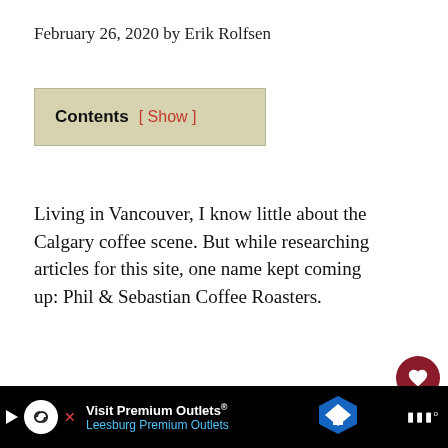February 26, 2020 by Erik Rolfsen
Contents [ Show ]
Living in Vancouver, I know little about the Calgary coffee scene. But while researching articles for this site, one name kept coming up: Phil & Sebastian Coffee Roasters.
Serious coffee drinkers seemed to love th Calgary roastery. Their cafes kept sending
Visit Premium Outlets® Leesburg Premium Outlets [advertisement]